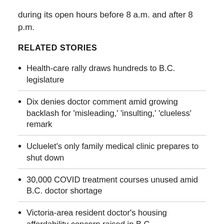during its open hours before 8 a.m. and after 8 p.m.
RELATED STORIES
Health-care rally draws hundreds to B.C. legislature
Dix denies doctor comment amid growing backlash for 'misleading,' 'insulting,' 'clueless' remark
Ucluelet's only family medical clinic prepares to shut down
30,000 COVID treatment courses unused amid B.C. doctor shortage
Victoria-area resident doctor's housing affordability concern raised in B.C.